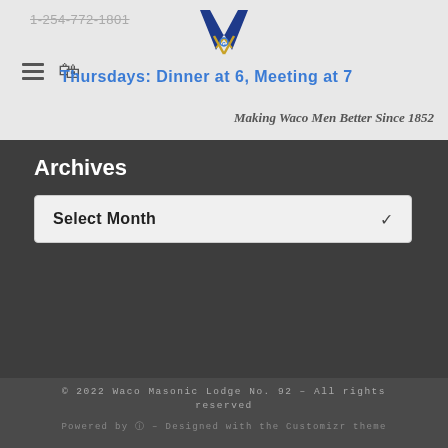1-254-772-1801 | Thursdays: Dinner at 6, Meeting at 7 | Making Waco Men Better Since 1852
Archives
Select Month
© 2022 Waco Masonic Lodge No. 92 – All rights reserved
Powered by WordPress – Designed with the Customizr theme